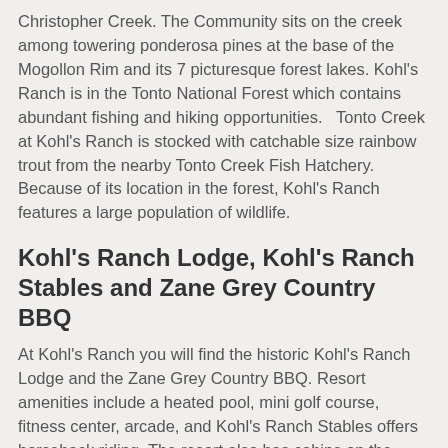Christopher Creek. The Community sits on the creek among towering ponderosa pines at the base of the Mogollon Rim and its 7 picturesque forest lakes. Kohl's Ranch is in the Tonto National Forest which contains abundant fishing and hiking opportunities.  Tonto Creek at Kohl's Ranch is stocked with catchable size rainbow trout from the nearby Tonto Creek Fish Hatchery.  Because of its location in the forest, Kohl's Ranch features a large population of wildlife.
Kohl's Ranch Lodge, Kohl's Ranch Stables and Zane Grey Country BBQ
At Kohl's Ranch you will find the historic Kohl's Ranch Lodge and the Zane Grey Country BBQ. Resort amenities include a heated pool, mini golf course, fitness center, arcade, and Kohl's Ranch Stables offers horseback riding. The resort also has cabins on the creek available.